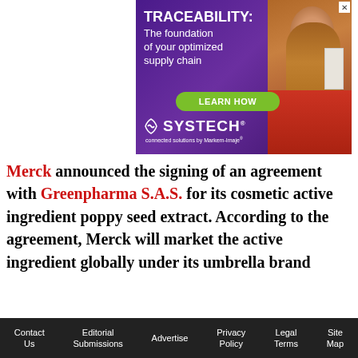[Figure (advertisement): Systech ad: TRACEABILITY: The foundation of your optimized supply chain. LEARN HOW button. Systech connected solutions by Markem-Imaje. Purple background with woman holding a product box.]
Merck announced the signing of an agreement with Greenpharma S.A.S. for its cosmetic active ingredient poppy seed extract. According to the agreement, Merck will market the active ingredient globally under its umbrella brand
Contact Us   Editorial Submissions   Advertise   Privacy Policy   Legal Terms   Site Map